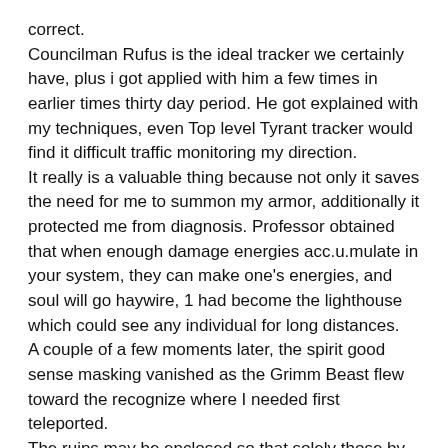correct.
Councilman Rufus is the ideal tracker we certainly have, plus i got applied with him a few times in earlier times thirty day period. He got explained with my techniques, even Top level Tyrant tracker would find it difficult traffic monitoring my direction.
It really is a valuable thing because not only it saves the need for me to summon my armor, additionally it protected me from diagnosis. Professor obtained that when enough damage energies acc.u.mulate in your system, they can make one's energies, and soul will go haywire, 1 had become the lighthouse which could see any individual for long distances.
A couple of a few moments later, the spirit good sense masking vanished as the Grimm Beast flew toward the recognize where I needed first teleported.
The ruins may be enclosed so that solely those by using a key could enter into, but seeing they offer mailed these kinds of quantities of Grimm Monsters on this page, they are able to definitely manage to make it work, however are executing it.